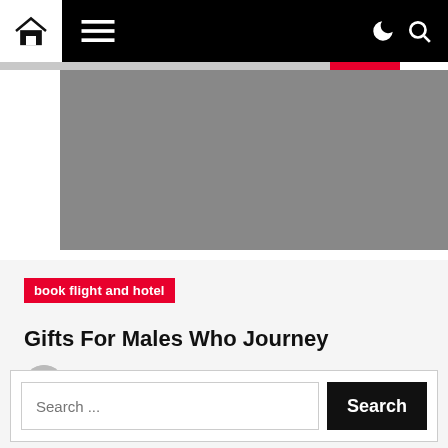Navigation bar with home icon, menu icon, moon/dark-mode icon, and search icon
[Figure (photo): Hero image area - gray rectangle representing an article header image]
book flight and hotel
Gifts For Males Who Journey
Lyla  3 years ago
Search ...